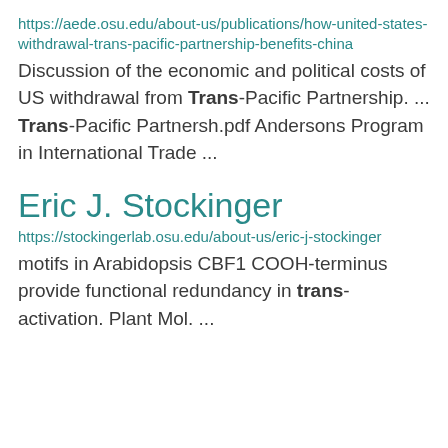https://aede.osu.edu/about-us/publications/how-united-states-withdrawal-trans-pacific-partnership-benefits-china
Discussion of the economic and political costs of US withdrawal from Trans-Pacific Partnership. ... Trans-Pacific Partnersh.pdf Andersons Program in International Trade ...
Eric J. Stockinger
https://stockingerlab.osu.edu/about-us/eric-j-stockinger
motifs in Arabidopsis CBF1 COOH-terminus provide functional redundancy in trans-activation. Plant Mol. ...